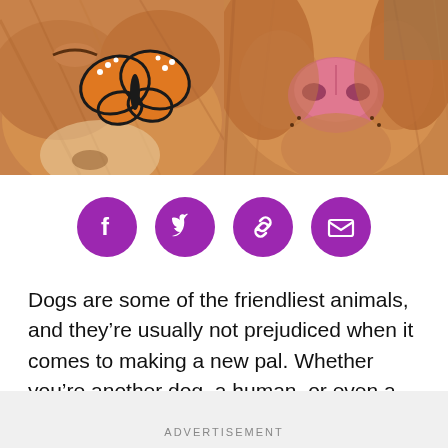[Figure (photo): Two photos of a golden/red dog side by side: left photo shows dog's face with a monarch butterfly on its nose; right photo shows close-up of dog's face and nose from below.]
[Figure (infographic): Row of four purple circle social sharing icons: Facebook, Twitter, link/chain, and envelope/email.]
Dogs are some of the friendliest animals, and they’re usually not prejudiced when it comes to making a new pal. Whether you’re another dog, a human, or even a cat, most dogs will see you as their new best mate, and they will instantly put all of their love and trust into you.
ADVERTISEMENT